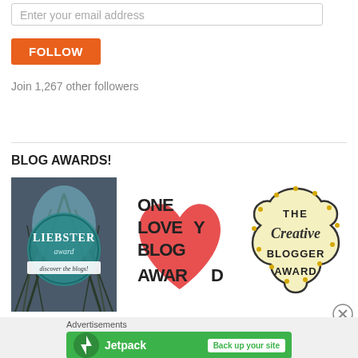Enter your email address
FOLLOW
Join 1,267 other followers
BLOG AWARDS!
[Figure (illustration): Three blog award images: Liebster Award (forest circle badge), One Lovely Blog Award (red heart graphic), The Creative Blogger Award (yellow cloud badge)]
Advertisements
[Figure (screenshot): Jetpack advertisement banner with green background, Jetpack logo and 'Back up your site' button]